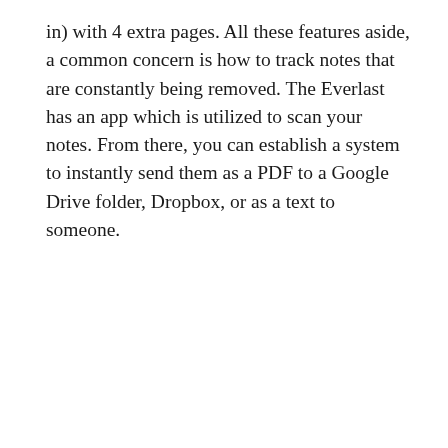in) with 4 extra pages. All these features aside, a common concern is how to track notes that are constantly being removed. The Everlast has an app which is utilized to scan your notes. From there, you can establish a system to instantly send them as a PDF to a Google Drive folder, Dropbox, or as a text to someone.